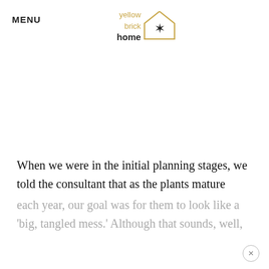MENU
[Figure (logo): Yellow Brick Home logo: text 'yellow brick home' beside a house outline with a star/asterisk inside, in gold color]
When we were in the initial planning stages, we told the consultant that as the plants mature each year, our goal was for them to look like a 'big, tangled mess.' Although that sounds, well,